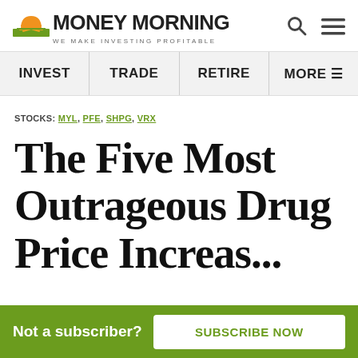MONEY MORNING — WE MAKE INVESTING PROFITABLE
INVEST | TRADE | RETIRE | MORE
STOCKS: MYL, PFE, SHPG, VRX
The Five Most Outrageous Drug Price Increases of
Not a subscriber? SUBSCRIBE NOW